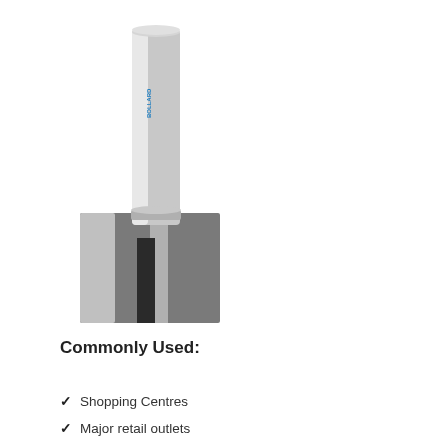[Figure (photo): A tall slim cylindrical silver bollard with a small blue brand label near the top, inserted into a square stainless steel ground socket/base plate.]
Commonly Used:
Shopping Centres
Major retail outlets